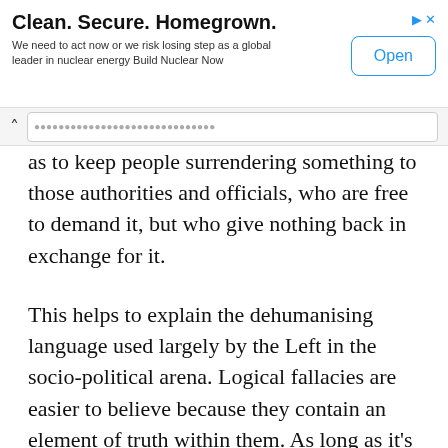[Figure (screenshot): Advertisement banner: 'Clean. Secure. Homegrown.' with Open button]
as to keep people surrendering something to those authorities and officials, who are free to demand it, but who give nothing back in exchange for it.
This helps to explain the dehumanising language used largely by the Left in the socio-political arena. Logical fallacies are easier to believe because they contain an element of truth within them. As long as it’s enough to hook someone into taking a side, the percentage of truth doesn't